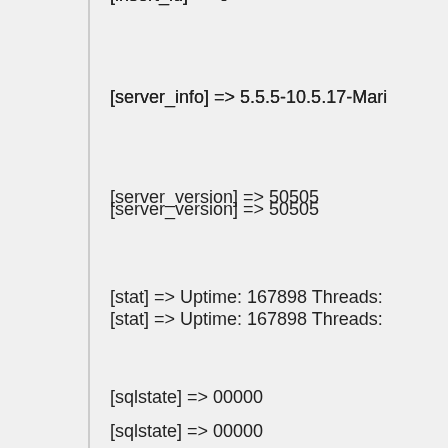[insert_id] => 0
[server_info] => 5.5.5-10.5.17-Mari
[server_version] => 50505
[stat] => Uptime: 167898  Threads:
[sqlstate] => 00000
[protocol_version] => 10
[thread_id] => 431245
[warning_count] => 0
)
Back to Top